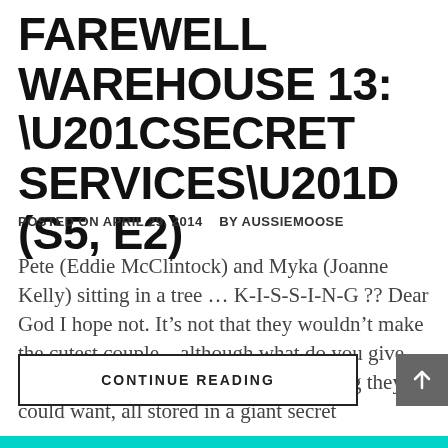FAREWELL WAREHOUSE 13: “SECRET SERVICES” (S5, E2)
POSTED ON APRIL 29, 2014    BY AUSSIEMOOSE
Pete (Eddie McClintock) and Myka (Joanne Kelly) sitting in a tree … K-I-S-S-I-N-G ?? Dear God I hope not. It’s not that they wouldn’t make the cutest couple – although what do you give people who have pretty much everything they could want, all stored in a giant secret
CONTINUE READING